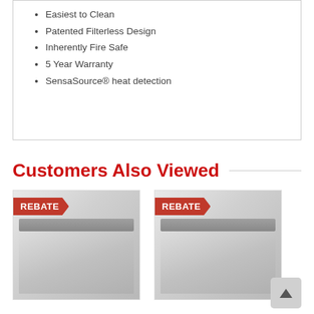Easiest to Clean
Patented Filterless Design
Inherently Fire Safe
5 Year Warranty
SensaSource® heat detection
Customers Also Viewed
[Figure (photo): Stainless steel dishwasher with REBATE badge]
[Figure (photo): Stainless steel dishwasher with REBATE badge]